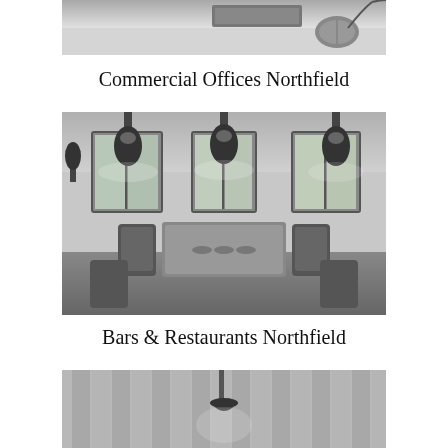[Figure (photo): Black and white photo showing an office desk with a keyboard and mouse, partially visible from above.]
Commercial Offices Northfield
[Figure (photo): Black and white photo of a restaurant interior with dining tables set with cutlery, wooden chairs, pendant lights, and large windows in the background.]
Bars & Restaurants Northfield
[Figure (photo): Black and white photo partially visible at the bottom showing an interior space with vertical paneling and a pendant light.]